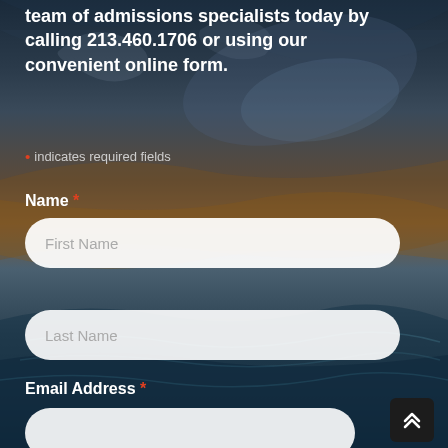team of admissions specialists today by calling 213.460.1706 or using our convenient online form.
* indicates required fields
Name *
[Figure (screenshot): First Name input field, rounded white rectangle]
[Figure (screenshot): Last Name input field, rounded white rectangle]
Email Address *
[Figure (screenshot): Email address input field, rounded white rectangle]
[Figure (infographic): Scroll-to-top button with double upward chevron, dark background]